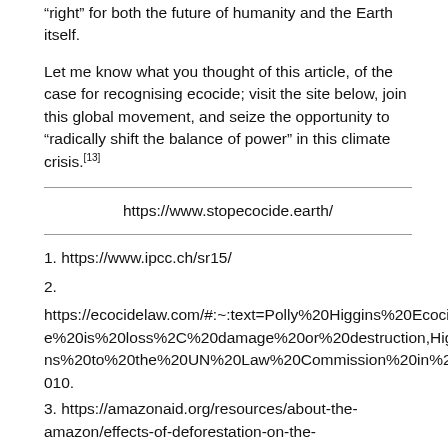“right” for both the future of humanity and the Earth itself.
Let me know what you thought of this article, of the case for recognising ecocide; visit the site below, join this global movement, and seize the opportunity to “radically shift the balance of power” in this climate crisis.[13]
https://www.stopecocide.earth/
1. https://www.ipcc.ch/sr15/
2.
https://ecocidelaw.com/#:~:text=Polly%20Higgins%20Ecocide%20is%20loss%2C%20damage%20or%20destruction,Higgins%20to%20the%20UN%20Law%20Commission%20in%202010.
3. https://amazonaid.org/resources/about-the-amazon/effects-of-deforestation-on-the-amazon/#:~:text=%20Effects%20of%20Deforestation%20o